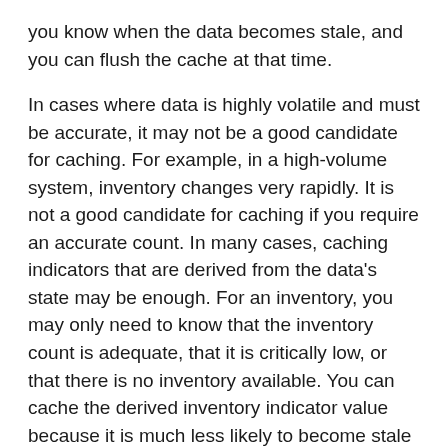you know when the data becomes stale, and you can flush the cache at that time.
In cases where data is highly volatile and must be accurate, it may not be a good candidate for caching. For example, in a high-volume system, inventory changes very rapidly. It is not a good candidate for caching if you require an accurate count. In many cases, caching indicators that are derived from the data's state may be enough. For an inventory, you may only need to know that the inventory count is adequate, that it is critically low, or that there is no inventory available. You can cache the derived inventory indicator value because it is much less likely to become stale than the actual inventory count.
Another technique that can prevent staleness is to invalidate the data in the cache when items in the backing store change. This approach detects changes in the backing store